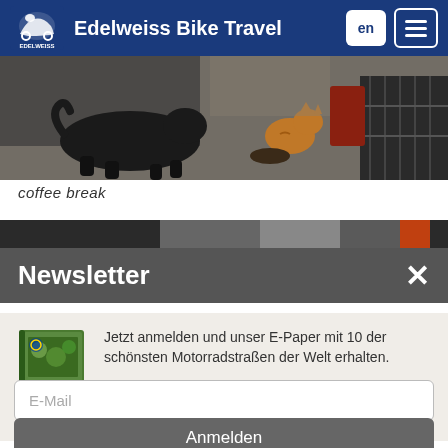Edelweiss Bike Travel
[Figure (photo): Photo of a black dog and a cat on the ground, coffee break scene]
coffee break
[Figure (photo): Partial photo strip showing motorcycle/vehicle scene]
Newsletter
Jetzt anmelden und unser E-Paper mit 10 der schönsten Motorradstraßen der Welt erhalten.
[Figure (illustration): E-Paper booklet cover thumbnail]
E-Mail
Anmelden